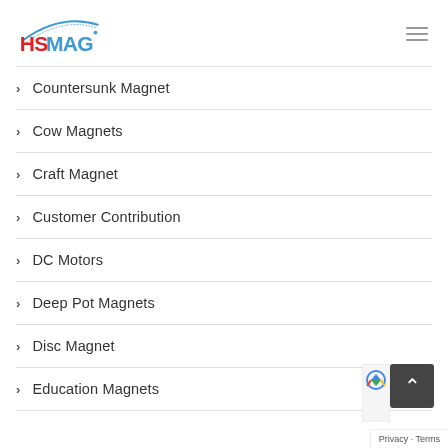[Figure (logo): HSMAG logo with red HS text and blue MAG text with arc graphic]
Countersunk Magnet
Cow Magnets
Craft Magnet
Customer Contribution
DC Motors
Deep Pot Magnets
Disc Magnet
Education Magnets
Privacy · Terms